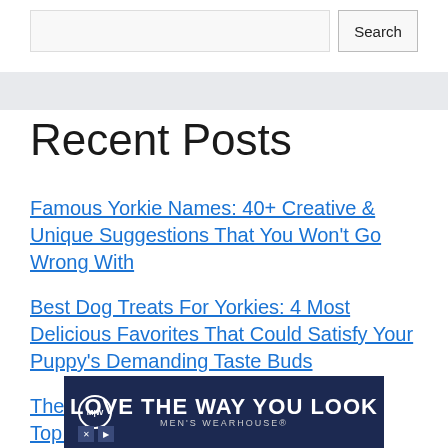[Figure (screenshot): Search bar with text input field and Search button]
Recent Posts
Famous Yorkie Names: 40+ Creative & Unique Suggestions That You Won't Go Wrong With
Best Dog Treats For Yorkies: 4 Most Delicious Favorites That Could Satisfy Your Puppy's Demanding Taste Buds
The Best Wet Food For A Yorkie Puppy: Top 4 Amazing Products Worth Your Time & Mo...
[Figure (other): Men's Wearhouse advertisement banner: LOVE THE WAY YOU LOOK]